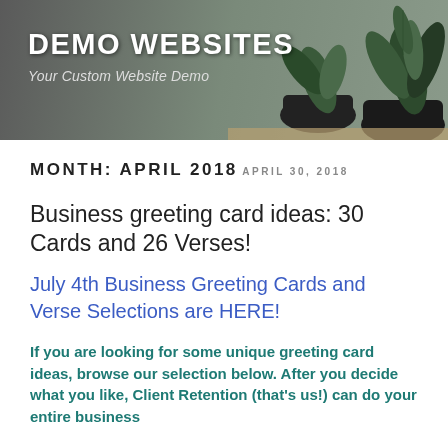DEMO WEBSITES
Your Custom Website Demo
MONTH: APRIL 2018
APRIL 30, 2018
Business greeting card ideas: 30 Cards and 26 Verses!
July 4th Business Greeting Cards and Verse Selections are HERE!
If you are looking for some unique greeting card ideas, browse our selection below. After you decide what you like, Client Retention (that's us!) can do your entire business